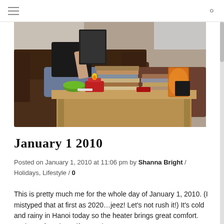[hamburger menu icon] [search icon]
[Figure (photo): A person sitting on a brown sofa reading a book, with a wooden coffee table in front holding stacks of books, a red candle holder with lit candle, a green bowl, and a glowing amber candle lamp. Cozy indoor scene.]
January 1 2010
Posted on January 1, 2010 at 11:06 pm by Shanna Bright / Holidays, Lifestyle / 0
This is pretty much me for the whole day of January 1, 2010.  (I mistyped that at first as 2020…jeez! Let's not rush it!)  It's cold and rainy in Hanoi today so the heater brings great comfort.  I'm in my favorite uniform, a jeans an my